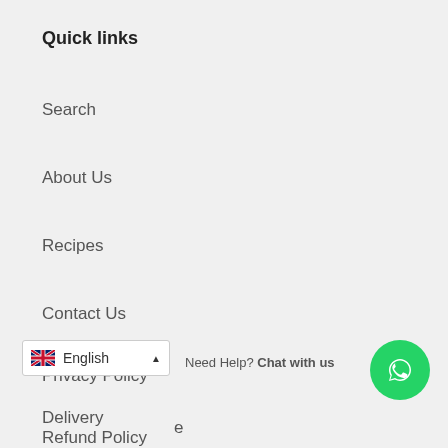Quick links
Search
About Us
Recipes
Contact Us
Privacy Policy
Delivery
English
Need Help? Chat with us
Refund Policy